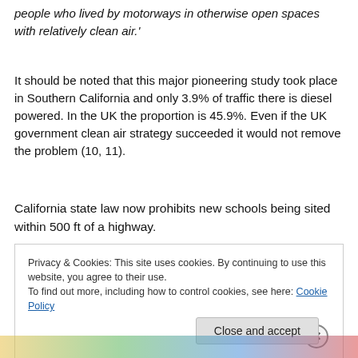people who lived by motorways in otherwise open spaces with relatively clean air.'
It should be noted that this major pioneering study took place in Southern California and only 3.9% of traffic there is diesel powered. In the UK the proportion is 45.9%. Even if the UK government clean air strategy succeeded it would not remove the problem (10, 11).
California state law now prohibits new schools being sited within 500 ft of a highway.
Privacy & Cookies: This site uses cookies. By continuing to use this website, you agree to their use.
To find out more, including how to control cookies, see here: Cookie Policy